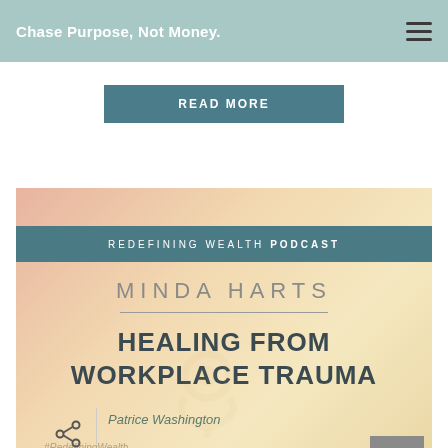Chase Purpose, Not Money.
READ MORE
[Figure (screenshot): Redefining Wealth Podcast card featuring Minda Harts — Healing from Workplace Trauma, with gradient background and podcast icon watermark, and #RedefiningWealth hashtag]
Patrice Washington